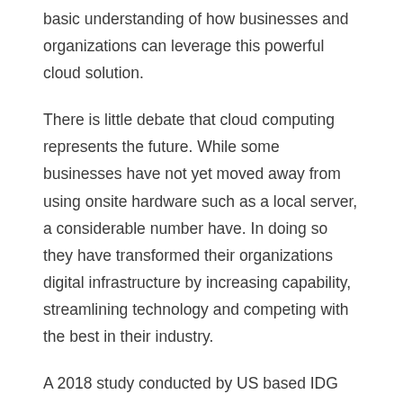basic understanding of how businesses and organizations can leverage this powerful cloud solution.
There is little debate that cloud computing represents the future. While some businesses have not yet moved away from using onsite hardware such as a local server, a considerable number have. In doing so they have transformed their organizations digital infrastructure by increasing capability, streamlining technology and competing with the best in their industry.
A 2018 study conducted by US based IDG found that 73% of businesses surveyed deploy not less then 1 application or a portion of their IT systems in the